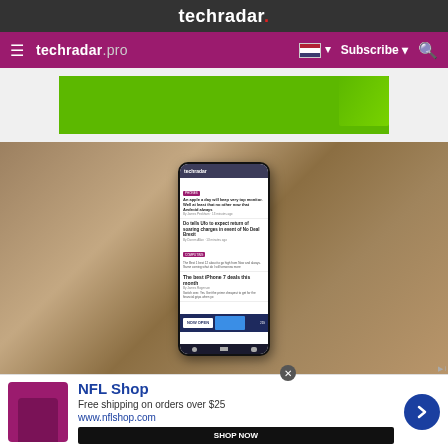techradar.
techradar pro  Subscribe
[Figure (screenshot): Partial advertisement banner showing a green background with partial image at top]
[Figure (photo): Photo of a smartphone propped against a wooden surface, displaying a TechRadar website on its screen with articles including 'Do tells Ufo to expect return of soaring charges in event of No Deal Brexit' and 'The best iPhone 7 deals this month']
[Figure (screenshot): Advertisement banner for NFL Shop: 'Free shipping on orders over $25' with www.nflshop.com and SHOP NOW button]